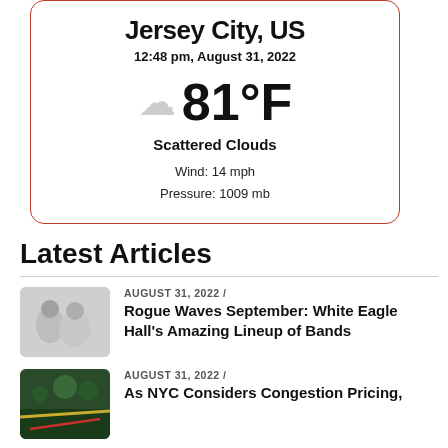Jersey City, US
12:48 pm, August 31, 2022
81°F
Scattered Clouds
Wind: 14 mph
Pressure: 1009 mb
Latest Articles
AUGUST 31, 2022 /
Rogue Waves September: White Eagle Hall's Amazing Lineup of Bands
AUGUST 31, 2022 /
As NYC Considers Congestion Pricing,